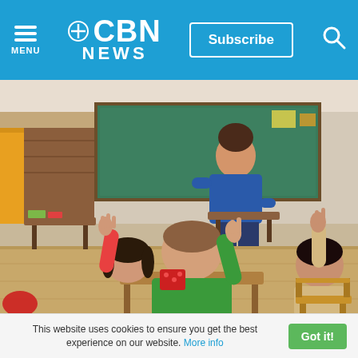CBN NEWS
[Figure (photo): Classroom scene with children raising their hands at their desks, viewed from behind, with a female teacher in a blue shirt standing at a green chalkboard at the front.]
'More Retirements than New Hires:' Teacher Shortage a
This website uses cookies to ensure you get the best experience on our website. More info